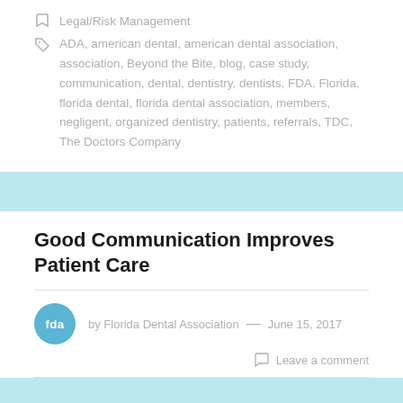Legal/Risk Management
ADA, american dental, american dental association, association, Beyond the Bite, blog, case study, communication, dental, dentistry, dentists, FDA, Florida, florida dental, florida dental association, members, negligent, organized dentistry, patients, referrals, TDC, The Doctors Company
Good Communication Improves Patient Care
by Florida Dental Association — June 15, 2017
Leave a comment
Powered Word CPNA, CPURM, Patient Safety/Risk...